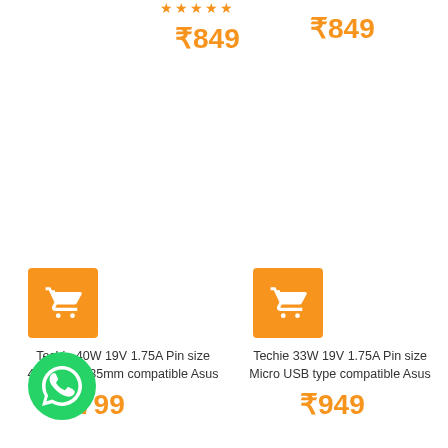★★★★★
₹849
₹849
[Figure (illustration): Orange shopping cart button icon (left)]
[Figure (illustration): Orange shopping cart button icon (right)]
Techie 40W 19V 1.75A Pin size 4.0mm x 1.35mm compatible Asus
Techie 33W 19V 1.75A Pin size Micro USB type compatible Asus
₹799
₹949
[Figure (illustration): WhatsApp green circular icon button]